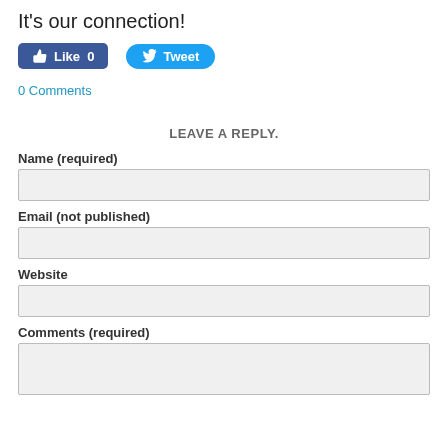It's our connection!
[Figure (other): Facebook Like button showing 'Like 0' and Twitter Tweet button]
0 Comments
LEAVE A REPLY.
Name (required)
Email (not published)
Website
Comments (required)